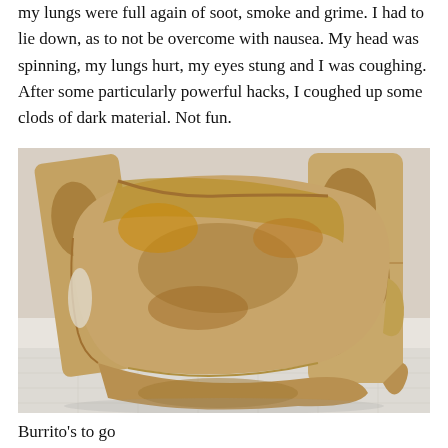my lungs were full again of soot, smoke and grime. I had to lie down, as to not be overcome with nausea. My head was spinning, my lungs hurt, my eyes stung and I was coughing. After some particularly powerful hacks, I coughed up some clods of dark material. Not fun.
[Figure (photo): A photograph of three pan-fried burritos stacked on white paper towels. The burritos have golden-brown toasted tortilla exteriors with characteristic fold marks and slightly crispy edges.]
Burrito's to go